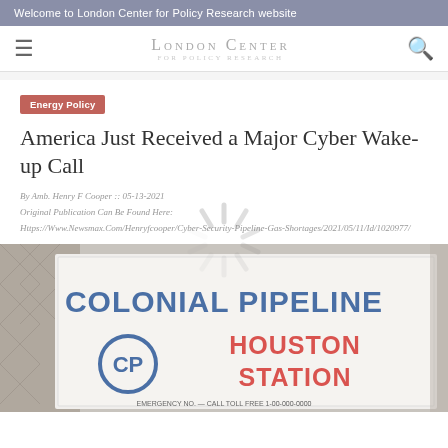Welcome to London Center for Policy Research website
[Figure (logo): London Center for Policy Research logo with hamburger menu and search icon]
Energy Policy
America Just Received a Major Cyber Wake-up Call
By Amb. Henry F Cooper :: 05-13-2021
Original Publication Can Be Found Here:
Https://Www.Newsmax.Com/Henryfcooper/Cyber-Security-Pipeline-Gas-Shortages/2021/05/11/Id/1020977/
[Figure (photo): Colonial Pipeline Houston Station sign with CP logo, chain-link fence visible]